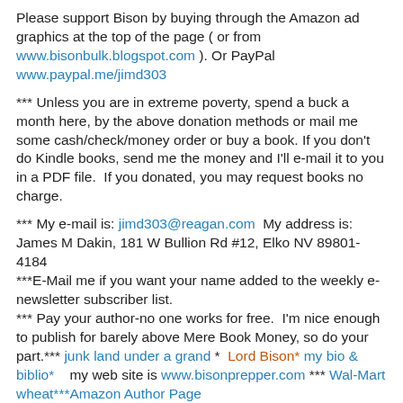Please support Bison by buying through the Amazon ad graphics at the top of the page ( or from www.bisonbulk.blogspot.com ). Or PayPal www.paypal.me/jimd303
*** Unless you are in extreme poverty, spend a buck a month here, by the above donation methods or mail me some cash/check/money order or buy a book. If you don't do Kindle books, send me the money and I'll e-mail it to you in a PDF file.  If you donated, you may request books no charge.
*** My e-mail is: jimd303@reagan.com  My address is: James M Dakin, 181 W Bullion Rd #12, Elko NV 89801-4184 ***E-Mail me if you want your name added to the weekly e-newsletter subscriber list.
*** Pay your author-no one works for free.  I'm nice enough to publish for barely above Mere Book Money, so do your part.*** junk land under a grand *  Lord Bison* my bio & biblio*    my web site is www.bisonprepper.com *** Wal-Mart wheat***Amazon Author Page
* By the by, all my writing is copyrighted. For the obtuse out there